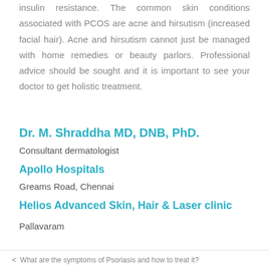insulin resistance. The common skin conditions associated with PCOS are acne and hirsutism (increased facial hair). Acne and hirsutism cannot just be managed with home remedies or beauty parlors. Professional advice should be sought and it is important to see your doctor to get holistic treatment.
Dr. M. Shraddha MD, DNB, PhD.
Consultant dermatologist
Apollo Hospitals
Greams Road, Chennai
Helios Advanced Skin, Hair & Laser clinic
Pallavaram
< What are the symptoms of Psoriasis and how to treat it?